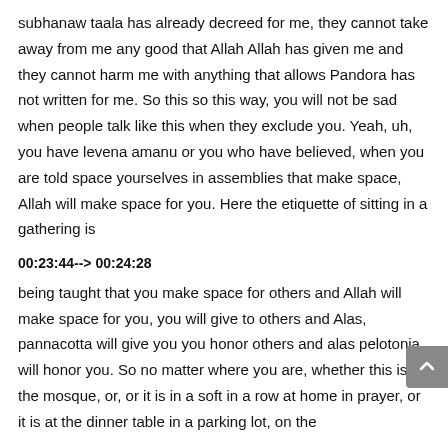subhanaw taala has already decreed for me, they cannot take away from me any good that Allah Allah has given me and they cannot harm me with anything that allows Pandora has not written for me. So this so this way, you will not be sad when people talk like this when they exclude you. Yeah, uh, you have levena amanu or you who have believed, when you are told space yourselves in assemblies that make space, Allah will make space for you. Here the etiquette of sitting in a gathering is
00:23:44--> 00:24:28
being taught that you make space for others and Allah will make space for you, you will give to others and Alas, pannacotta will give you you honor others and alas pelotonia will honor you. So no matter where you are, whether this is in the mosque, or, or it is in a soft in a row at home in prayer, or it is at the dinner table in a parking lot, on the